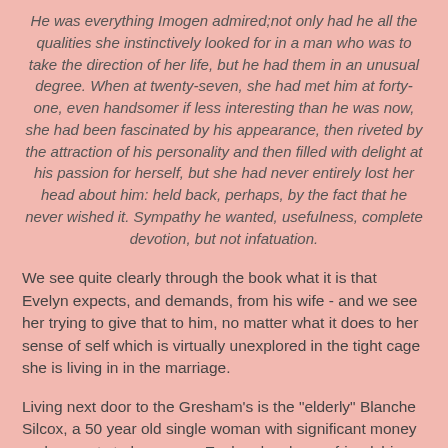He was everything Imogen admired;not only had he all the qualities she instinctively looked for in a man who was to take the direction of her life, but he had them in an unusual degree. When at twenty-seven, she had met him at forty-one, even handsomer if less interesting than he was now, she had been fascinated by his appearance, then riveted by the attraction of his personality and then filled with delight at his passion for herself, but she had never entirely lost her head about him: held back, perhaps, by the fact that he never wished it. Sympathy he wanted, usefulness, complete devotion, but not infatuation.
We see quite clearly through the book what it is that Evelyn expects, and demands, from his wife - and we see her trying to give that to him, no matter what it does to her sense of self which is virtually unexplored in the tight cage she is living in in the marriage.
Living next door to the Gresham's is the "elderly" Blanche Silcox, a 50 year old single woman with significant money and property to her name. Evelyn develops a friendship with her - a friendship that seems to offer him everything that